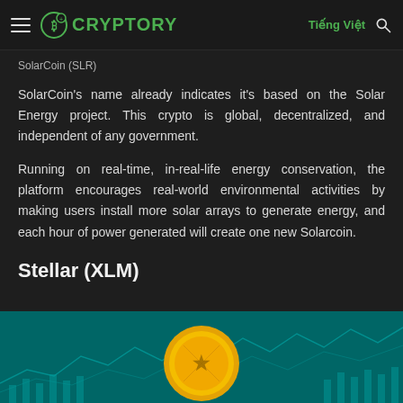CRYPTORY | Tiếng Việt
SolarCoin (SLR)
SolarCoin's name already indicates it's based on the Solar Energy project. This crypto is global, decentralized, and independent of any government.
Running on real-time, in-real-life energy conservation, the platform encourages real-world environmental activities by making users install more solar arrays to generate energy, and each hour of power generated will create one new Solarcoin.
Stellar (XLM)
[Figure (illustration): Stellar XLM coin illustration with teal/green financial chart background and gold coin image]